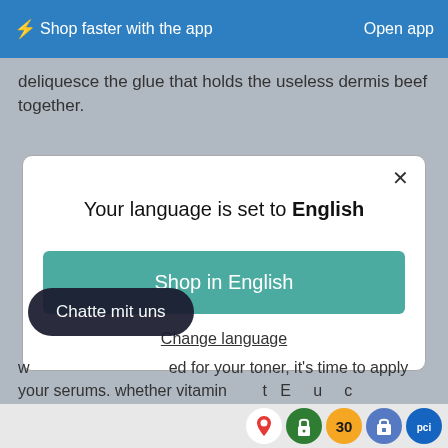⚡Shop faster with the app   Open app
deliquesce the glue that holds the useless dermis beef together.
[Figure (screenshot): Modal dialog with title 'Your language is set to English', a teal 'Shop in English' button, and a 'Change language' link. A close X button in the top right corner.]
Chatte mit uns
w... ed for your toner, it's time to apply your serums. whether vitamin t... E 30 u c